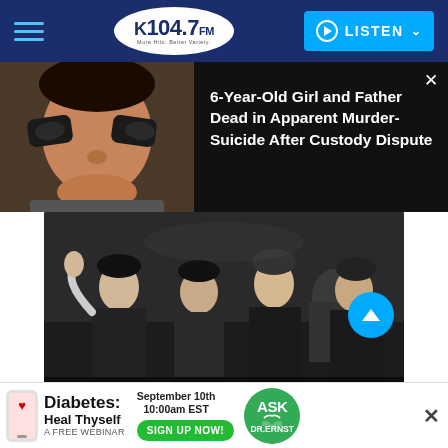K104.7 FM — LISTEN
[Figure (screenshot): News article thumbnail: child with football eye black stickers on face]
6-Year-Old Girl and Father Dead in Apparent Murder-Suicide After Custody Dispute
[Figure (photo): Black and white photograph of The Beatles waving and smiling, four young men in dark coats]
[Figure (infographic): Advertisement banner: Diabetes: Heal Thyself — A FREE WEBINAR, September 10th 10:00am EST, SIGN UP NOW!, ASK DR.ERNST]